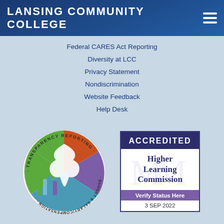Lansing Community College
Federal CARES Act Reporting
Diversity at LCC
Privacy Statement
Nondiscrimination
Website Feedback
Help Desk
[Figure (logo): Transparency Reporting Budget & Salary/Compensation circular badge with Michigan state outline and colorful bar charts]
[Figure (logo): Accredited Higher Learning Commission badge with Verify Status Here and date 3 SEP 2022]